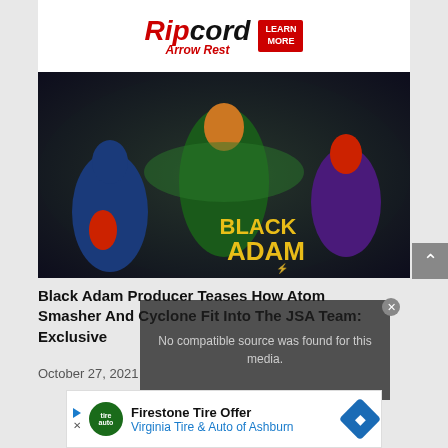[Figure (logo): Ripcord Arrow Rest logo with red and black italic text and 'LEARN MORE' red button]
[Figure (photo): Black Adam movie promotional artwork showing superheroes including characters from the JSA team, with 'BLACK ADAM' text in yellow]
Black Adam Producer Teases How Atom Smasher And Cyclone Fit Into The JSA Team: Exclusive
October 27, 2021
[Figure (screenshot): Video player overlay with text: No compatible source was found for this media.]
[Figure (other): Advertisement: Firestone Tire Offer - Virginia Tire & Auto of Ashburn]